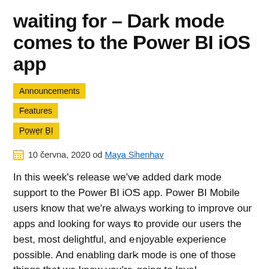waiting for – Dark mode comes to the Power BI iOS app
Announcements
Features
Power BI
10 června, 2020 od Maya Shenhav
In this week's release we've added dark mode support to the Power BI iOS app. Power BI Mobile users know that we're always working to improve our apps and looking for ways to provide our users the best, most delightful, and enjoyable experience possible. And enabling dark mode is one of those things that we know you're going to love!